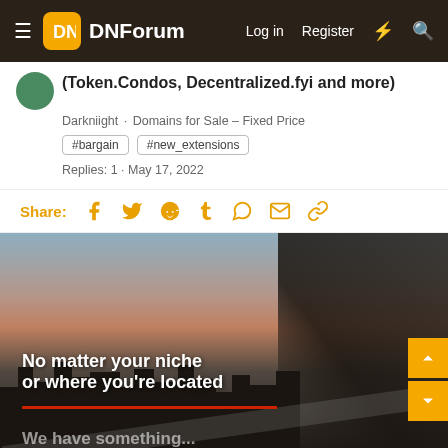DNForum — Log in  Register
(Token.Condos, Decentralized.fyi and more)
Darkniight · Domains for Sale – Fixed Price
#bargain
#new_extensions
Replies: 1 · May 17, 2022
Share:
[Figure (photo): Person looking at a laptop against a city skyline at dusk with text overlay: 'No matter your niche or where you're located' and a partial line below]